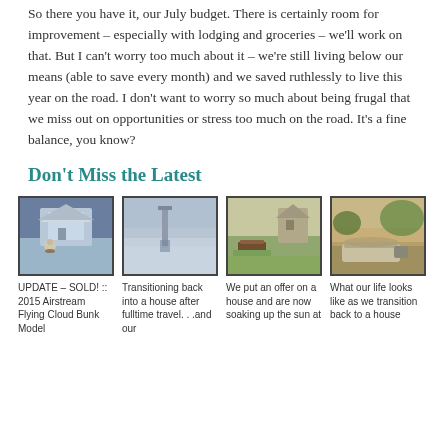So there you have it, our July budget. There is certainly room for improvement – especially with lodging and groceries – we'll work on that. But I can't worry too much about it – we're still living below our means (able to save every month) and we saved ruthlessly to live this year on the road. I don't want to worry so much about being frugal that we miss out on opportunities or stress too much on the road. It's a fine balance, you know?
Don't Miss the Latest
[Figure (photo): Photo of a person standing in front of a large ornate government building with fountains]
UPDATE – SOLD! :: 2015 Airstream Flying Cloud Bunk Model
[Figure (photo): Photo of a dock or pier over calm water at dusk/dawn, misty atmosphere]
Transitioning back into a house after fulltime travel. . .and our
[Figure (photo): Photo of a garden with raised beds and a building in the background]
We put an offer on a house and are now soaking up the sun at
[Figure (photo): Photo of an Airstream trailer parked under trees in a campsite]
What our life looks like as we transition back to a house